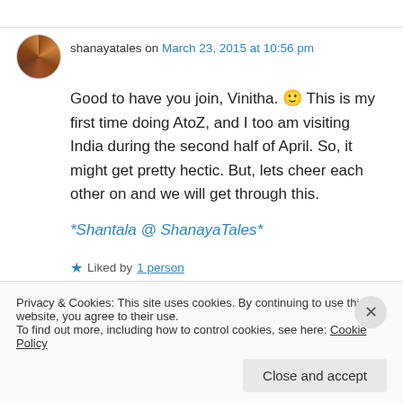shanayatales on March 23, 2015 at 10:56 pm
Good to have you join, Vinitha. 🙂 This is my first time doing AtoZ, and I too am visiting India during the second half of April. So, it might get pretty hectic. But, lets cheer each other on and we will get through this.
*Shantala @ ShanayaTales*
★ Liked by 1 person
Privacy & Cookies: This site uses cookies. By continuing to use this website, you agree to their use. To find out more, including how to control cookies, see here: Cookie Policy
Close and accept